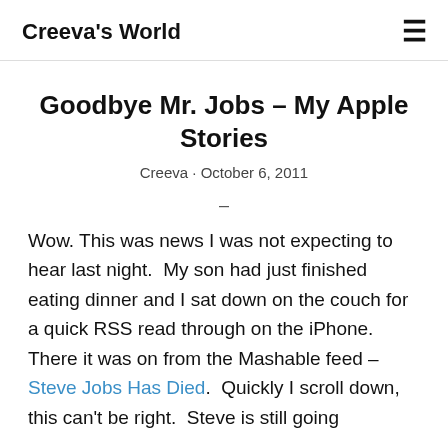Creeva's World
Goodbye Mr. Jobs – My Apple Stories
Creeva · October 6, 2011
–
Wow. This was news I was not expecting to hear last night.  My son had just finished eating dinner and I sat down on the couch for a quick RSS read through on the iPhone.  There it was on from the Mashable feed – Steve Jobs Has Died.  Quickly I scroll down, this can't be right.  Steve is still going